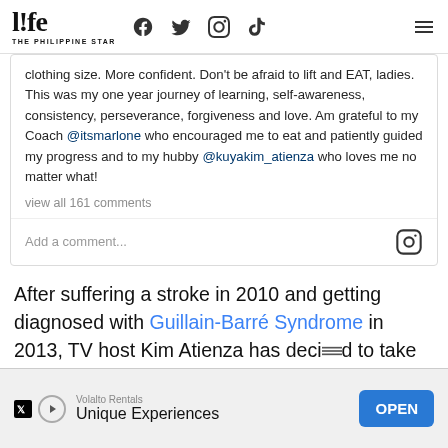life THE PHILIPPINE STAR — social media icons
clothing size. More confident. Don't be afraid to lift and EAT, ladies. This was my one year journey of learning, self-awareness, consistency, perseverance, forgiveness and love. Am grateful to my Coach @itsmarlone who encouraged me to eat and patiently guided my progress and to my hubby @kuyakim_atienza who loves me no matter what!
view all 161 comments
Add a comment...
After suffering a stroke in 2010 and getting diagnosed with Guillain-Barré Syndrome in 2013, TV host Kim Atienza has decided to take the healthy
[Figure (screenshot): Advertisement banner: Volalto Rentals - Unique Experiences with OPEN button]